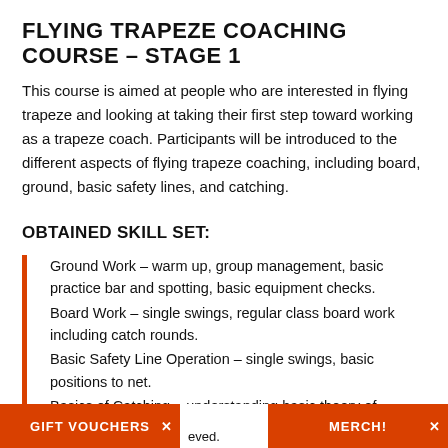FLYING TRAPEZE COACHING COURSE – STAGE 1
This course is aimed at people who are interested in flying trapeze and looking at taking their first step toward working as a trapeze coach. Participants will be introduced to the different aspects of flying trapeze coaching, including board, ground, basic safety lines, and catching.
OBTAINED SKILL SET:
Ground Work – warm up, group management, basic practice bar and spotting, basic equipment checks.
Board Work – single swings, regular class board work including catch rounds.
Basic Safety Line Operation – single swings, basic positions to net.
Basics of Catching – understanding basic theory of catching, [text cut off] eved.
GIFT VOUCHERS   ×                    MERCH!   ×